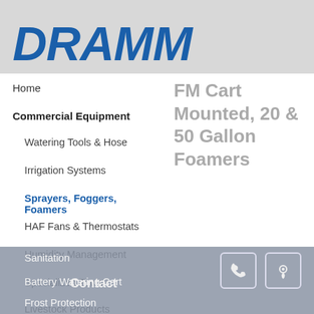[Figure (logo): DRAMM logo in bold italic blue text on grey background]
FM Cart Mounted, 20 & 50 Gallon Foamers
Home
Commercial Equipment
Watering Tools & Hose
Irrigation Systems
Sprayers, Foggers, Foamers
HAF Fans & Thermostats
Humidity Management
Specialized Tools
Livestock Products
Interiorscape
Sanitation
Battery Watering Cart
Frost Protection
Contact